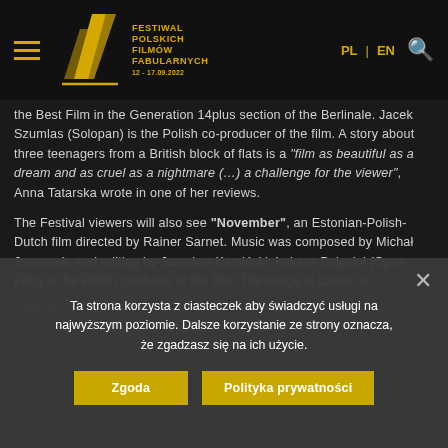FESTIWAL POLSKICH FILMÓW FABULARNYCH 12-17.09.2022
the Best Film in the Generation 14plus section of the Berlinale. Jacek Szumlas (Solopan) is the Polish co-producer of the film. A story about three teenagers from a British block of flats is a "film as beautiful as a dream and as cruel as a nightmare (...) a challenge for the viewer", Anna Tatarska wrote in one of her reviews.
The Festival viewers will also see "November", an Estonian-Polish-Dutch film directed by Rainer Sarnet. Music was composed by Michał Jacaszek, and editing by Jarosław Kamiński. Łukasz Dzięcioł (Opus Film) is the Polish producer of the film. The image is based on...
Ta strona korzysta z ciasteczek aby świadczyć usługi na najwyższym poziomie. Dalsze korzystanie ze strony oznacza, że zgadzasz się na ich użycie.
Zgoda
Polityka prywatności